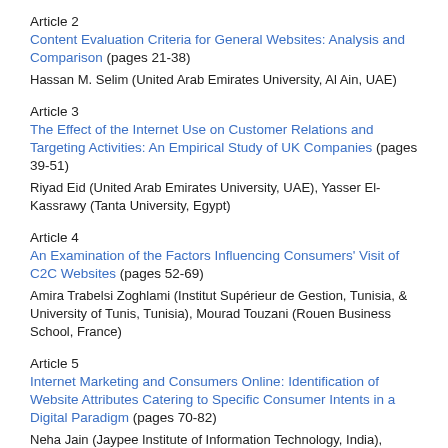Article 2
Content Evaluation Criteria for General Websites: Analysis and Comparison (pages 21-38)
Hassan M. Selim (United Arab Emirates University, Al Ain, UAE)
Article 3
The Effect of the Internet Use on Customer Relations and Targeting Activities: An Empirical Study of UK Companies (pages 39-51)
Riyad Eid (United Arab Emirates University, UAE), Yasser El-Kassrawy (Tanta University, Egypt)
Article 4
An Examination of the Factors Influencing Consumers' Visit of C2C Websites (pages 52-69)
Amira Trabelsi Zoghlami (Institut Supérieur de Gestion, Tunisia, & University of Tunis, Tunisia), Mourad Touzani (Rouen Business School, France)
Article 5
Internet Marketing and Consumers Online: Identification of Website Attributes Catering to Specific Consumer Intents in a Digital Paradigm (pages 70-82)
Neha Jain (Jaypee Institute of Information Technology, India), Vandana Ahuja (Jaypee Institute of Information Technology, India), Y. Medury (Jaypee Education System, India)